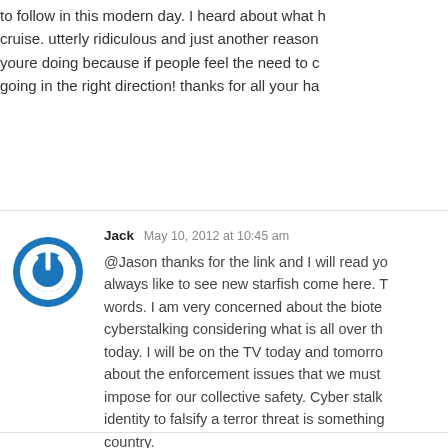to follow in this modern day. I heard about what happened on the cruise. utterly ridiculous and just another reason to keep doing what youre doing because if people feel the need to copy you, youre going in the right direction! thanks for all your ha
Jack  May 10, 2012 at 10:45 am
@Jason thanks for the link and I will read yo... always like to see new starfish come here. T... words. I am very concerned about the biote... cyberstalking considering what is all over th... today. I will be on the TV today and tomorro... about the enforcement issues that we must... impose for our collective safety. Cyber stalk... identity to falsify a terror threat is something... country.